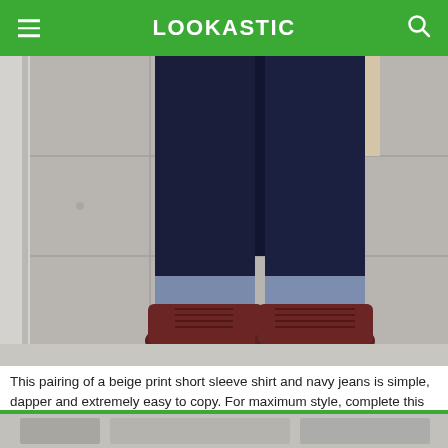LOOKASTIC
[Figure (photo): Photo of a person wearing dark navy jeans cuffed at the ankle, paired with brown leather boots, standing against a concrete wall background.]
This pairing of a beige print short sleeve shirt and navy jeans is simple, dapper and extremely easy to copy. For maximum style, complete this look with DSquared 2 Brown Leather Denim Hiking Boots from SSENSE.
[Figure (photo): Partial view of another outfit photo at the bottom of the page.]